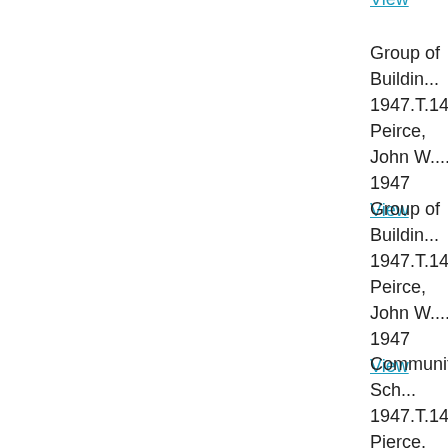View
Group of Buildin...
1947.T.141
Peirce, John W....
1947
View
Group of Buildin...
1947.T.142
Peirce, John W....
1947
View
Community Sch...
1947.T.143
Pierce, Walter S...
1947
View
Community Sch...
1947.T.144
Pierce, Walter S...
1947
View
Community Sch...